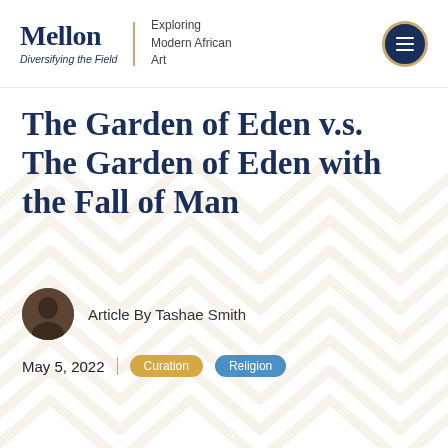Mellon Diversifying the Field | Exploring Modern African Art
The Garden of Eden v.s. The Garden of Eden with the Fall of Man
Article By Tashae Smith
May 5, 2022
Curation
Religion